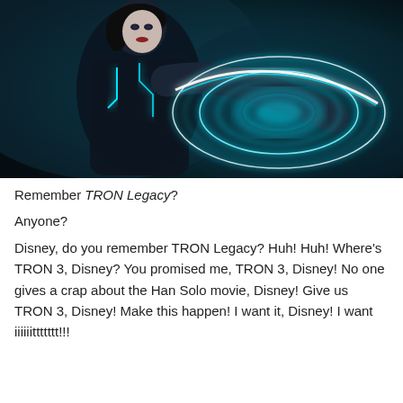[Figure (photo): Scene from TRON Legacy showing a female character in a dark futuristic suit with glowing teal/cyan circuit lines, holding a glowing disc weapon with bright circular light rings.]
Remember TRON Legacy?
Anyone?
Disney, do you remember TRON Legacy? Huh! Huh! Where's TRON 3, Disney? You promised me, TRON 3, Disney! No one gives a crap about the Han Solo movie, Disney! Give us TRON 3, Disney! Make this happen! I want it, Disney! I want iiiiiittttttt!!!